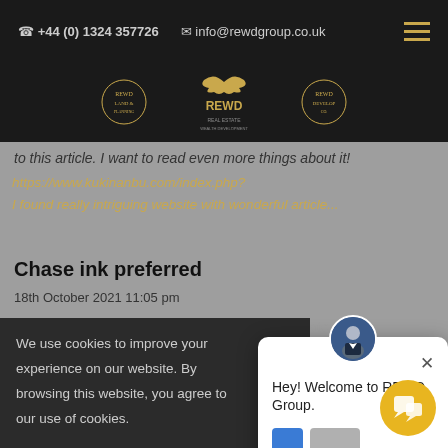+44 (0) 1324 357726  info@rewdgroup.co.uk
[Figure (logo): REWD Group logo with three sub-brand logos on dark background]
to this article. I want to read even more things about it!
https://www.kukinanbu.com/index.php?
I found really intriguing website with wonderful articles
Chase ink preferred
18th October 2021 11:05 pm
I blog sometimes as w... material. This terrific sh...
We use cookies to improve your experience on our website. By browsing this website, you agree to our use of cookies.
[Figure (screenshot): Chat popup widget: Hey! Welcome to REWD Group. with avatar, close button, and action buttons]
[Figure (illustration): Yellow chat bubble button in bottom right corner]